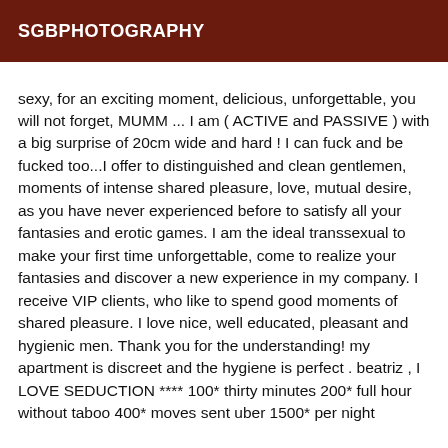SGBPHOTOGRAPHY
sexy, for an exciting moment, delicious, unforgettable, you will not forget, MUMM ... I am ( ACTIVE and PASSIVE ) with a big surprise of 20cm wide and hard ! I can fuck and be fucked too...I offer to distinguished and clean gentlemen, moments of intense shared pleasure, love, mutual desire, as you have never experienced before to satisfy all your fantasies and erotic games. I am the ideal transsexual to make your first time unforgettable, come to realize your fantasies and discover a new experience in my company. I receive VIP clients, who like to spend good moments of shared pleasure. I love nice, well educated, pleasant and hygienic men. Thank you for the understanding! my apartment is discreet and the hygiene is perfect . beatriz , I LOVE SEDUCTION **** 100* thirty minutes 200* full hour without taboo 400* moves sent uber 1500* per night